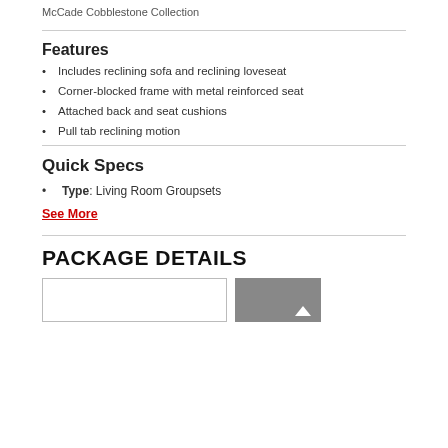McCade Cobblestone Collection
Features
Includes reclining sofa and reclining loveseat
Corner-blocked frame with metal reinforced seat
Attached back and seat cushions
Pull tab reclining motion
Quick Specs
Type: Living Room Groupsets
See More
PACKAGE DETAILS